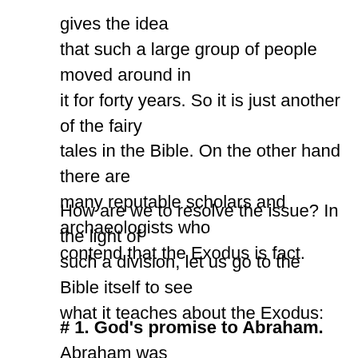gives the idea that such a large group of people moved around in it for forty years. So it is just another of the fairy tales in the Bible. On the other hand there are many reputable scholars and archaeologists who contend that the Exodus is fact.
How are we to resolve the issue? In the light of such a division, let us go to the Bible itself to see what it teaches about the Exodus:
# 1. God's promise to Abraham. Abraham was